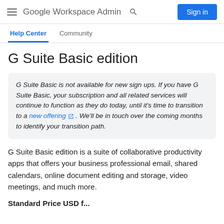Google Workspace Admin  Sign in
Help Center  Community
G Suite Basic edition
G Suite Basic is not available for new sign ups. If you have G Suite Basic, your subscription and all related services will continue to function as they do today, until it's time to transition to a new offering . We'll be in touch over the coming months to identify your transition path.
G Suite Basic edition is a suite of collaborative productivity apps that offers your business professional email, shared calendars, online document editing and storage, video meetings, and much more.
Standard Price USD f...